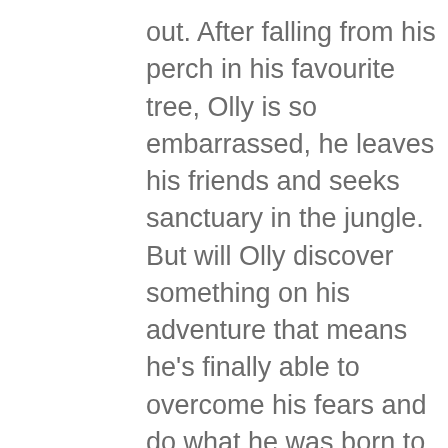out. After falling from his perch in his favourite tree, Olly is so embarrassed, he leaves his friends and seeks sanctuary in the jungle. But will Olly discover something on his adventure that means he's finally able to overcome his fears and do what he was born to do… sing? To try to win a copy of the book head to: https://toppsta.com/books/details/656 orangutan-who-sang